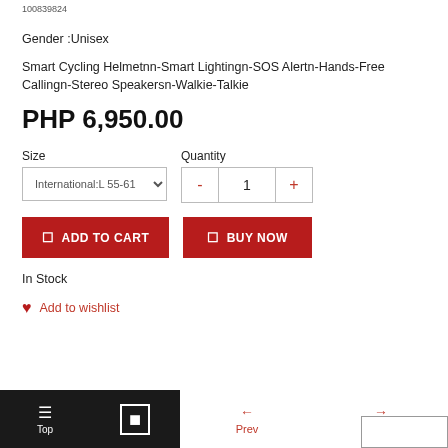100839824
Gender :Unisex
Smart Cycling Helmetnn-Smart Lightingn-SOS Alertn-Hands-Free Callingn-Stereo Speakersn-Walkie-Talkie
PHP 6,950.00
Size
International:L 55-61
Quantity
1
ADD TO CART
BUY NOW
In Stock
Add to wishlist
Top | Prev | Next